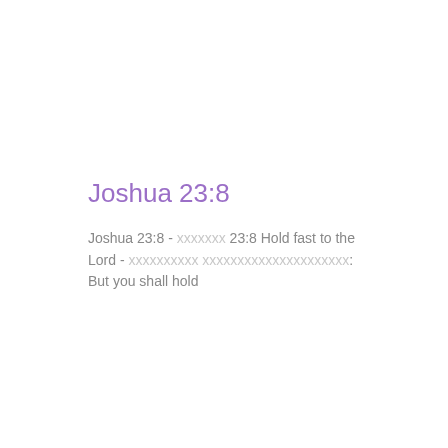Joshua 23:8
Joshua 23:8 - xxxxxxx 23:8 Hold fast to the Lord - xxxxxxxxxx xxxxxxxxxxxxxxxxxxxxx: But you shall hold